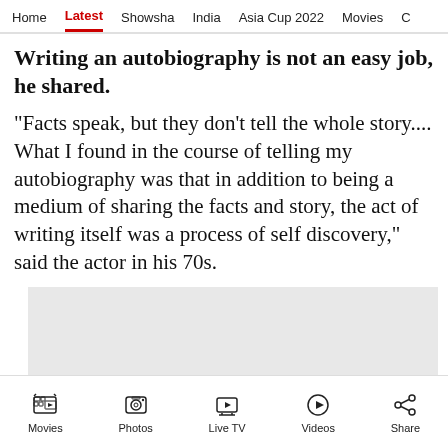Home  Latest  Showsha  India  Asia Cup 2022  Movies  C
Writing an autobiography is not an easy job, he shared.
"Facts speak, but they don't tell the whole story.... What I found in the course of telling my autobiography was that in addition to being a medium of sharing the facts and story, the act of writing itself was a process of self discovery," said the actor in his 70s.
[Figure (other): Advertisement placeholder rectangle, light gray background with X close button]
Movies  Photos  Live TV  Videos  Share